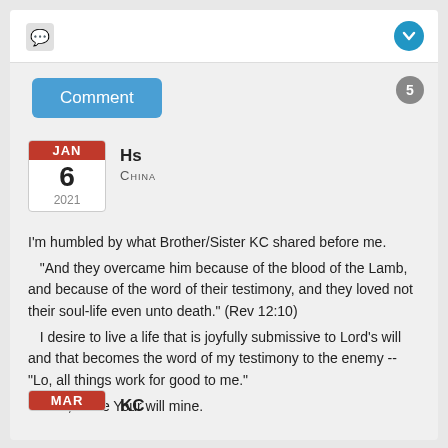[Figure (screenshot): Chat/comment icon in top-left tab area]
[Figure (screenshot): Blue circle chevron-down button top-right]
Comment
5
[Figure (other): Calendar icon showing JAN 6 2021]
Hs
CHINA
I'm humbled by what Brother/Sister KC shared before me. "And they overcame him because of the blood of the Lamb, and because of the word of their testimony, and they loved not their soul-life even unto death." (Rev 12:10) I desire to live a life that is joyfully submissive to Lord's will and that becomes the word of my testimony to the enemy -- "Lo, all things work for good to me." Lord, make Your will mine.
[Figure (other): Calendar icon showing MAR]
KC